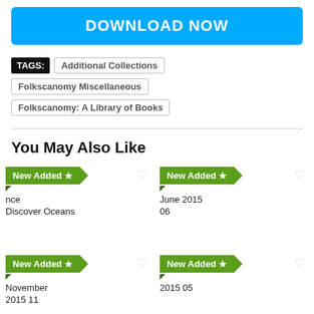DOWNLOAD NOW
TAGS: Additional Collections
Folkscanomy Miscellaneous
Folkscanomy: A Library of Books
You May Also Like
[Figure (screenshot): Four 'New Added' green ribbon cards with partial titles and dates: 'nce Discover Oceans', 'June 2015 06', 'November 2015 11', '2015 05']